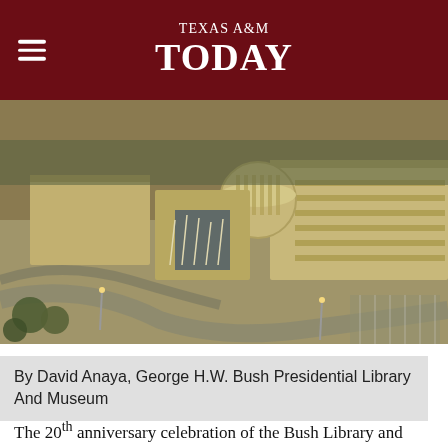TEXAS A&M TODAY
[Figure (photo): Aerial view of the George H.W. Bush Presidential Library and Museum in College Station, Texas, showing large beige/cream-colored buildings with a circular rotunda, surrounding roads and parking areas, and trees in the background, photographed at golden hour.]
By David Anaya, George H.W. Bush Presidential Library And Museum
The 20th anniversary celebration of the Bush Library and Museum in College Station includes a pair of panel